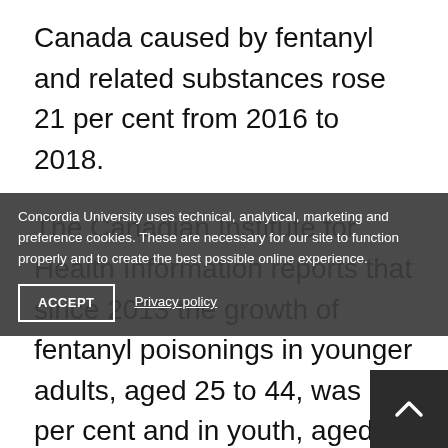Canada caused by fentanyl and related substances rose 21 per cent from 2016 to 2018.
The Canadian Institute for Health Information reports that since 2013 the growth of fentanyl poisonings in younger adults, aged 25 to 44, was 62 per cent and in youth, aged 15 to 24, was 53 per cent.
Although fentanyl is often cut into other opioids like heroine, “they have found fentanyl traces in cocaine, MDMA and even marijuana,”
Concordia University uses technical, analytical, marketing and preference cookies. These are necessary for our site to function properly and to create the best possible online experience.
ACCEPT
Privacy policy